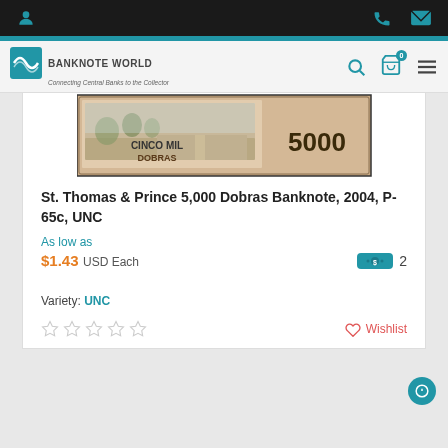Banknote World - Connecting Central Banks to the Collector
[Figure (photo): Image of St. Thomas & Prince 5,000 Dobras banknote showing CINCO MIL DOBRAS and the number 5000]
St. Thomas & Prince 5,000 Dobras Banknote, 2004, P-65c, UNC
As low as
$1.43 USD Each
Variety: UNC
Wishlist